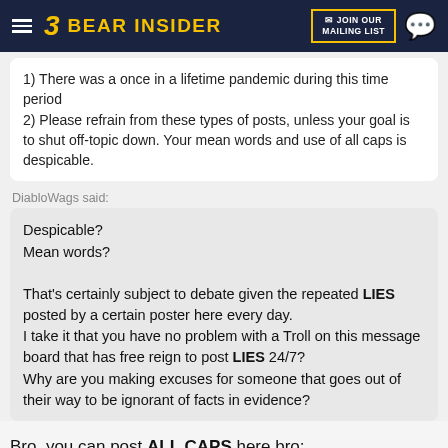Bear Insider — JOIN OUR MAILING LIST
1) There was a once in a lifetime pandemic during this time period
2) Please refrain from these types of posts, unless your goal is to shut off-topic down. Your mean words and use of all caps is despicable.
DiabloWags said:
Despicable?
Mean words?

That's certainly subject to debate given the repeated LIES posted by a certain poster here every day.
I take it that you have no problem with a Troll on this message board that has free reign to post LIES 24/7?
Why are you making excuses for someone that goes out of their way to be ignorant of facts in evidence?
Bro, you can post ALL CAPS here bro: